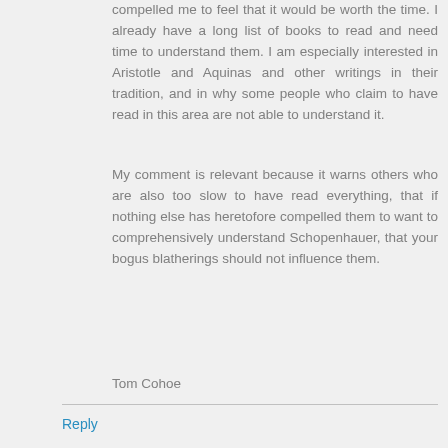compelled me to feel that it would be worth the time. I already have a long list of books to read and need time to understand them. I am especially interested in Aristotle and Aquinas and other writings in their tradition, and in why some people who claim to have read in this area are not able to understand it.
My comment is relevant because it warns others who are also too slow to have read everything, that if nothing else has heretofore compelled them to want to comprehensively understand Schopenhauer, that your bogus blatherings should not influence them.
Tom Cohoe
Reply